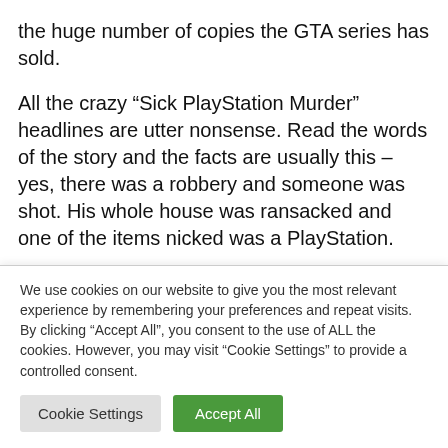the huge number of copies the GTA series has sold.
All the crazy “Sick PlayStation Murder” headlines are utter nonsense. Read the words of the story and the facts are usually this – yes, there was a robbery and someone was shot. His whole house was ransacked and one of the items nicked was a PlayStation.
It seems the British Board of Film Classification has just decided it’s time to get angry about games. It says [truncated]
We use cookies on our website to give you the most relevant experience by remembering your preferences and repeat visits. By clicking “Accept All”, you consent to the use of ALL the cookies. However, you may visit “Cookie Settings” to provide a controlled consent.